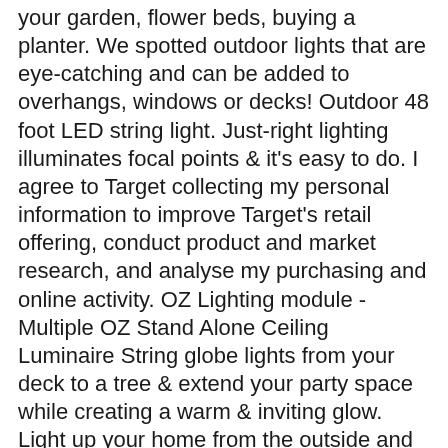your garden, flower beds, buying a planter. We spotted outdoor lights that are eye-catching and can be added to overhangs, windows or decks! Outdoor 48 foot LED string light. Just-right lighting illuminates focal points & it's easy to do. I agree to Target collecting my personal information to improve Target's retail offering, conduct product and market research, and analyse my purchasing and online activity. OZ Lighting module - Multiple OZ Stand Alone Ceiling Luminaire String globe lights from your deck to a tree & extend your party space while creating a warm & inviting glow. Light up your home from the outside and inside with these LED bulb indoor/outdoor string lights! Outdoor Lighting. Try Prime All Go Search EN Hello, Sign in Account & Lists Sign in Account & Lists Orders Try Prime … 10x LED Deck Stair Light Waterproof Yard Garden Pathway Patio Landscape Lamp Opt. This includes receiving marketing communications and targeted advertising subject to me exercising my privacy rights and choices. http://bit.ly/1JLeyw4 A bit of everything. Various things can make the battery operated outdoor lights at target into a good space for everyday living or hosting a party. 5